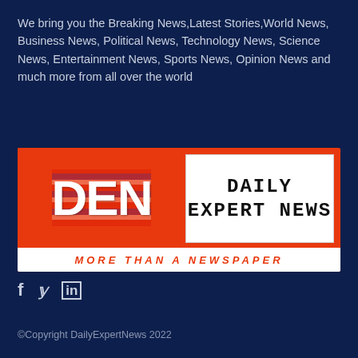We bring you the Breaking News,Latest Stories,World News, Business News, Political News, Technology News, Science News, Entertainment News, Sports News, Opinion News and much more from all over the world
[Figure (logo): Daily Expert News logo with orange/red background, DEN initials on left, 'DAILY EXPERT NEWS' text in white box on right, and 'MORE THAN A NEWSPAPER' tagline at bottom in red italic]
f  𝕏  in
©Copyright DailyExpertNews 2022